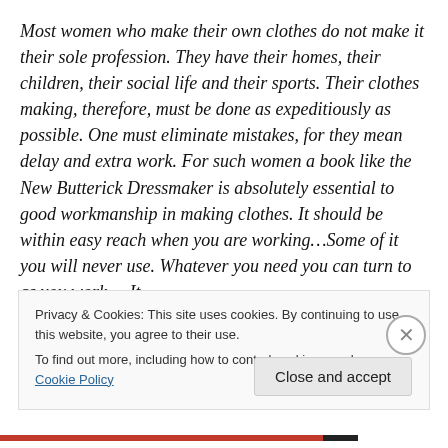Most women who make their own clothes do not make it their sole profession. They have their homes, their children, their social life and their sports. Their clothes making, therefore, must be done as expeditiously as possible. One must eliminate mistakes, for they mean delay and extra work. For such women a book like the New Butterick Dressmaker is absolutely essential to good workmanship in making clothes. It should be within easy reach when you are working…Some of it you will never use. Whatever you need you can turn to as you work. ...It
Privacy & Cookies: This site uses cookies. By continuing to use this website, you agree to their use.
To find out more, including how to control cookies, see here: Cookie Policy